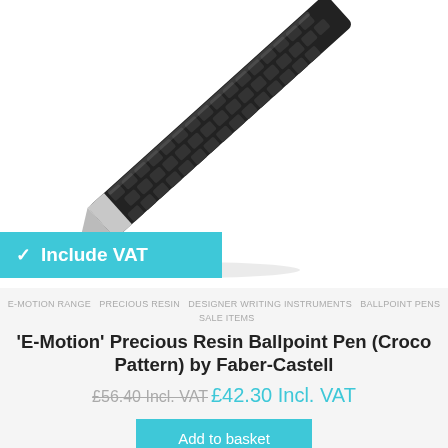[Figure (photo): Close-up diagonal photo of a black croco-pattern ballpoint pen with silver tip against white background]
✓ Include VAT
E-MOTION RANGE  PRECIOUS RESIN  DESIGNER WRITING INSTRUMENTS  BALLPOINT PENS  SALE ITEMS
'E-Motion' Precious Resin Ballpoint Pen (Croco Pattern) by Faber-Castell
£56.40 Incl. VAT £42.30 Incl. VAT
Add to basket